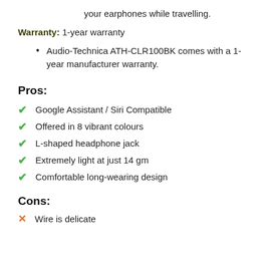your earphones while travelling.
Warranty: 1-year warranty
Audio-Technica ATH-CLR100BK comes with a 1-year manufacturer warranty.
Pros:
Google Assistant / Siri Compatible
Offered in 8 vibrant colours
L-shaped headphone jack
Extremely light at just 14 gm
Comfortable long-wearing design
Cons:
Wire is delicate